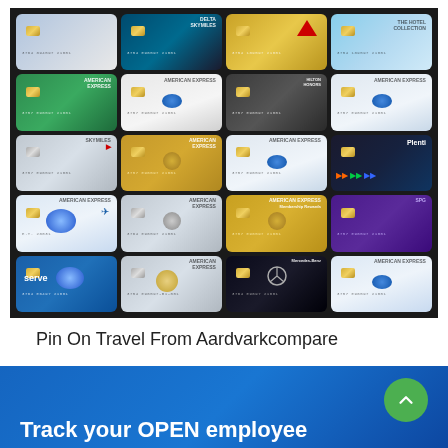[Figure (photo): Grid of 20 credit cards (4 columns x 5 rows) on a dark background, showing various American Express card designs including SkyMiles Delta, green Amex, blue Amex, gold Amex, Serve, Mercedes-Benz, and Plenti cards]
Pin On Travel From Aardvarkcompare
[Figure (screenshot): Blue banner section at the bottom of the page showing 'Track your OPEN employee' text in white on a blue background, with a green circular scroll-to-top button]